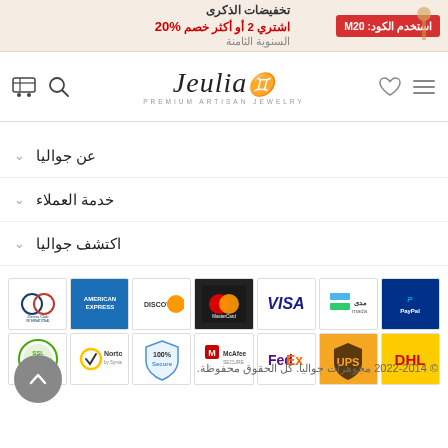تخفيضات الذكرى | اشتري 2 أو أكثر خصم 20% | استخدم الكود: M20
[Figure (logo): Jeulia Premium Artisan Jewelry logo with navigation icons (cart, search, heart, menu)]
عن جواليا
خدمة العملاء
اكتشف جواليا
[Figure (infographic): Payment method logos: Diners Club International, American Express, Discover, MasterCard, VISA, Mada, PayPal, SSL Secure, Norton by Symantec, 100% Secure, McAfee Secure, FedEx, UPS, DHL]
© 2022-2014 مجوهرات جواليا. كل الحقوق محفوظة.